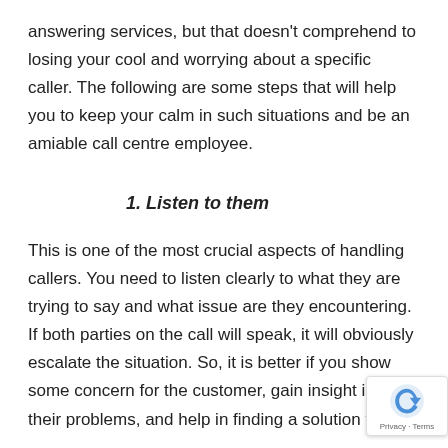answering services, but that doesn't comprehend to losing your cool and worrying about a specific caller. The following are some steps that will help you to keep your calm in such situations and be an amiable call centre employee.
1. Listen to them
This is one of the most crucial aspects of handling callers. You need to listen clearly to what they are trying to say and what issue are they encountering. If both parties on the call will speak, it will obviously escalate the situation. So, it is better if you show some concern for the customer, gain insight into their problems, and help in finding a solution to it.